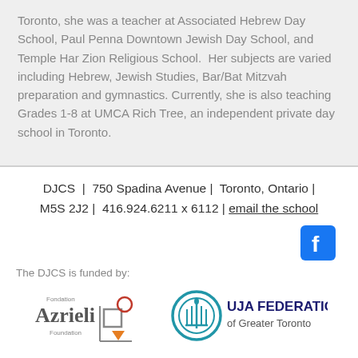Toronto, she was a teacher at Associated Hebrew Day School, Paul Penna Downtown Jewish Day School, and Temple Har Zion Religious School.  Her subjects are varied including Hebrew, Jewish Studies, Bar/Bat Mitzvah preparation and gymnastics. Currently, she is also teaching Grades 1-8 at UMCA Rich Tree, an independent private day school in Toronto.
DJCS | 750 Spadina Avenue | Toronto, Ontario | M5S 2J2 | 416.924.6211 x 6112 | email the school
[Figure (logo): Facebook logo icon - blue square with white f]
The DJCS is funded by:
[Figure (logo): Azrieli Foundation logo with geometric shapes]
[Figure (logo): UJA Federation of Greater Toronto logo with menorah circle]
The DJCS is proud to partner with:
Miles Nadal
Downtown Tor